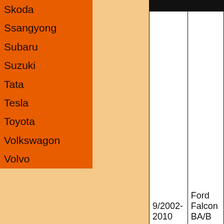Skoda
Ssangyong
Subaru
Suzuki
Tata
Tesla
Toyota
Volkswagon
Volvo
|  |  |
| --- | --- |
| 9/2002-2010 | Ford Falcon BA/B |